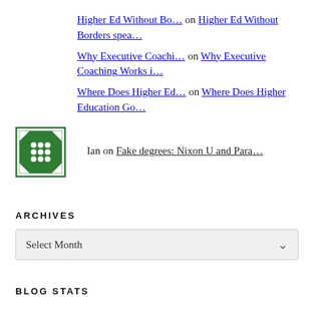Higher Ed Without Bo… on Higher Ed Without Borders spea…
Why Executive Coachi… on Why Executive Coaching Works i…
Where Does Higher Ed… on Where Does Higher Education Go…
Ian on Fake degrees: Nixon U and Para…
ARCHIVES
Select Month
BLOG STATS